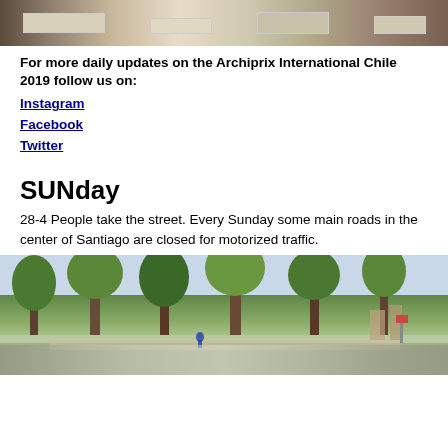[Figure (photo): Aerial or overhead view of people at tables in an exhibition or event space]
For more daily updates on the Archiprix International Chile 2019 follow us on:
Instagram
Facebook
Twitter
SUNday
28-4 People take the street. Every Sunday some main roads in the center of Santiago are closed for motorized traffic.
[Figure (photo): Street or park scene in Santiago with trees lining the road, closed to motorized traffic on Sunday]